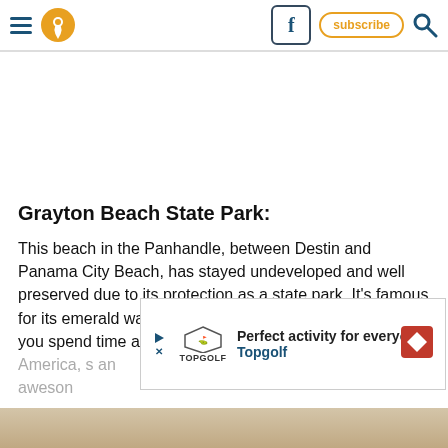Navigation header with hamburger menu, location pin icon, Facebook button, subscribe button, search icon
Grayton Beach State Park:
This beach in the Panhandle, between Destin and Panama City Beach, has stayed undeveloped and well preserved due to its protection as a state park. It's famous for its emerald waters and white sugar sand. Not only can you spend time at one of the most beautiful beaches in America, but it's an awesome
[Figure (screenshot): Advertisement banner for Topgolf: 'Perfect activity for everyone' with Topgolf logo and direction sign icon]